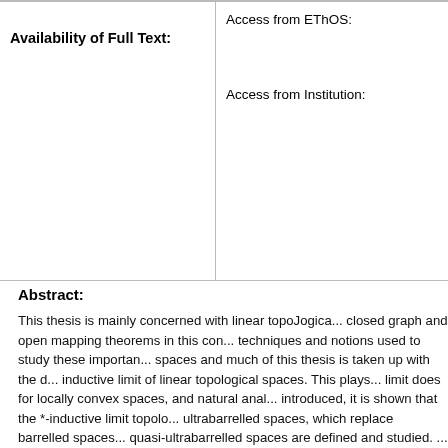| Availability of Full Text: | Access from EThOS:
Access from Institution: |
| --- | --- |
Abstract:
This thesis is mainly concerned with linear topoJogica... closed graph and open mapping theorems in this con... techniques and notions used to study these importan... spaces and much of this thesis is taken up with the d... inductive limit of linear topological spaces. This plays... limit does for locally convex spaces, and natural anal... introduced, it is shown that the *-inductive limit topolo... ultrabarrelled spaces, which replace barrelled spaces... quasi-ultrabarrelled spaces are defined and studied. ... particular, any *-inductive limit of complete metric line... spaces has none of these properties and none of the... characterised in terms of closed linear maps into com... and quasi-ultrabarrelled spaces in terms of bounded ... of two-norm spaces. The next section of the thesis lo... consisting of semiconvex sets. For these, there can b... between that of the ordinary inductive limit of locally c... *-inductive limit topology. Similarly there are spaces (... ultrabarrelled spaces, with analogues for bornologica... similar to those already found for ultrabarrelled space... linear maps into complete separated locally bounded...